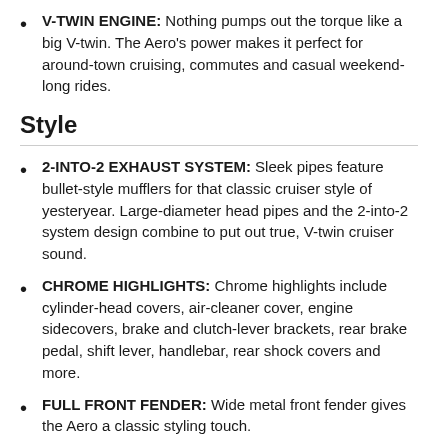V-TWIN ENGINE: Nothing pumps out the torque like a big V-twin. The Aero's power makes it perfect for around-town cruising, commutes and casual weekend-long rides.
Style
2-INTO-2 EXHAUST SYSTEM: Sleek pipes feature bullet-style mufflers for that classic cruiser style of yesteryear. Large-diameter head pipes and the 2-into-2 system design combine to put out true, V-twin cruiser sound.
CHROME HIGHLIGHTS: Chrome highlights include cylinder-head covers, air-cleaner cover, engine sidecovers, brake and clutch-lever brackets, rear brake pedal, shift lever, handlebar, rear shock covers and more.
FULL FRONT FENDER: Wide metal front fender gives the Aero a classic styling touch.
SPOKED WHEELS: Spoked wheels give the Aero a classic look.